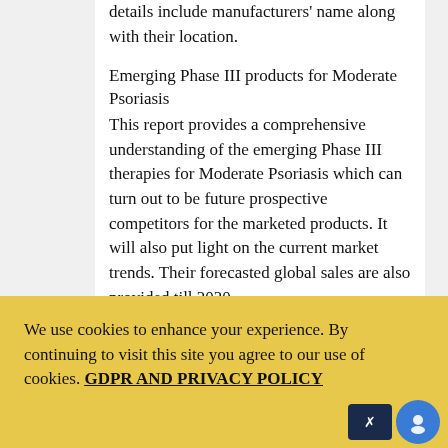details include manufacturers' name along with their location.
Emerging Phase III products for Moderate Psoriasis
This report provides a comprehensive understanding of the emerging Phase III therapies for Moderate Psoriasis which can turn out to be future prospective competitors for the marketed products. It will also put light on the current market trends. Their forecasted global sales are also provided till 2020.
Methodology
We use cookies to enhance your experience. By continuing to visit this site you agree to our use of cookies. GDPR AND PRIVACY POLICY